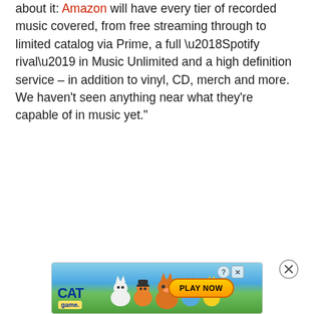about it: Amazon will have every tier of recorded music covered, from free streaming through to limited catalog via Prime, a full ‘Spotify rival’ in Music Unlimited and a high definition service – in addition to vinyl, CD, merch and more. We haven’t seen anything near what they’re capable of in music yet.”
[Figure (other): Advertisement banner for 'Cat Game' mobile game featuring cartoon cat characters on a grassy background with a 'PLAY NOW' button and close/info icons in the corner.]